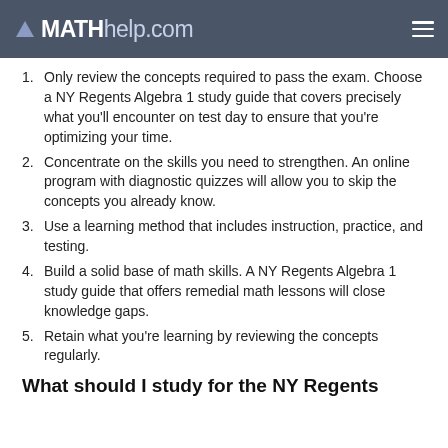MATHhelp.com
Only review the concepts required to pass the exam. Choose a NY Regents Algebra 1 study guide that covers precisely what you'll encounter on test day to ensure that you're optimizing your time.
Concentrate on the skills you need to strengthen. An online program with diagnostic quizzes will allow you to skip the concepts you already know.
Use a learning method that includes instruction, practice, and testing.
Build a solid base of math skills. A NY Regents Algebra 1 study guide that offers remedial math lessons will close knowledge gaps.
Retain what you're learning by reviewing the concepts regularly.
What should I study for the NY Regents